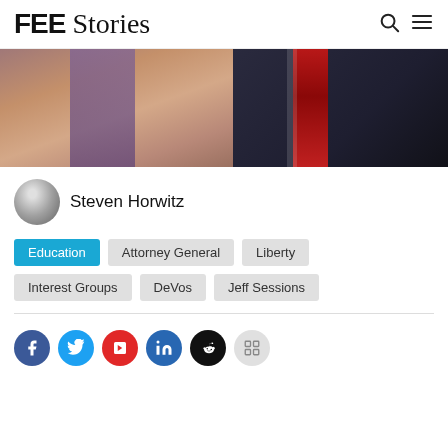FEE Stories
[Figure (photo): Cropped photo showing a hand in a purple sleeve on the left and a man in a dark suit with a red tie on the right]
Steven Horwitz
Education
Attorney General
Liberty
Interest Groups
DeVos
Jeff Sessions